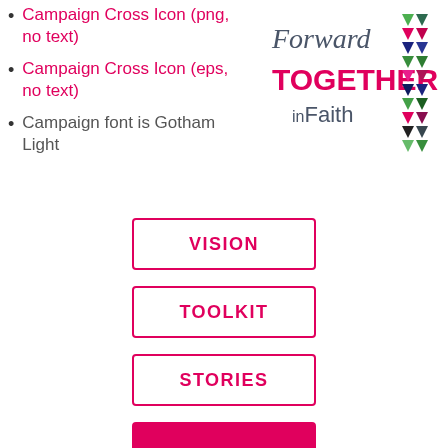Campaign Cross Icon (png, no text)
[Figure (logo): Forward Together in Faith campaign logo with colorful triangular cross icon on the right side]
Campaign Cross Icon (eps, no text)
Campaign font is Gotham Light
[Figure (infographic): Navigation buttons: VISION, TOOLKIT, STORIES, and a partially visible pink filled button at bottom]